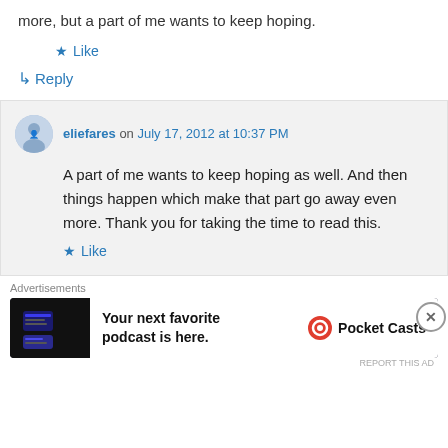more, but a part of me wants to keep hoping.
★ Like
↳ Reply
eliefares on July 17, 2012 at 10:37 PM
A part of me wants to keep hoping as well. And then things happen which make that part go away even more. Thank you for taking the time to read this.
★ Like
Advertisements
[Figure (other): Pocket Casts advertisement banner: 'Your next favorite podcast is here.' with Pocket Casts logo]